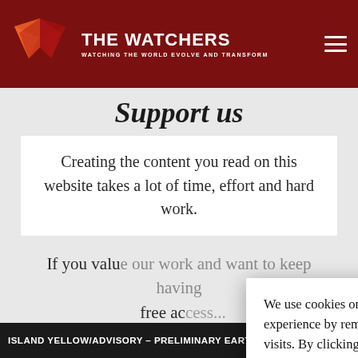THE WATCHERS — WATCHING THE WORLD EVOLVE AND TRANSFORM
Support us
Creating the content you read on this website takes a lot of time, effort and hard work.
If you value our work and want to keep having free ac...
We use cookies on our website to give you the most relevant experience by remembering your preferences and repeat visits. By clicking "Accept", you consent to the use of ALL the cookies.
Do not sell my personal information.
ISLAND YELLOW/ADVISORY – PRELIMINARY EARTHQUAKE LO...